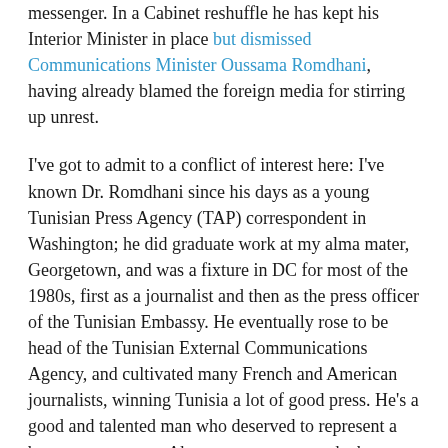messenger. In a Cabinet reshuffle he has kept his Interior Minister in place but dismissed Communications Minister Oussama Romdhani, having already blamed the foreign media for stirring up unrest.
I've got to admit to a conflict of interest here: I've known Dr. Romdhani since his days as a young Tunisian Press Agency (TAP) correspondent in Washington; he did graduate work at my alma mater, Georgetown, and was a fixture in DC for most of the 1980s, first as a journalist and then as the press officer of the Tunisian Embassy. He eventually rose to be head of the Tunisian External Communications Agency, and cultivated many French and American journalists, winning Tunisia a lot of good press. He's a good and talented man who deserved to represent a better government. About a year or so ago he became Communications Minister. Now he's lost that job, apparently for being unable to persuade the foreign press to put a positive spin on the present troubles.
Interior Minister Rafik Belhaj Kacem, whose resignation has been demanded by the demonstrators, kept his job.